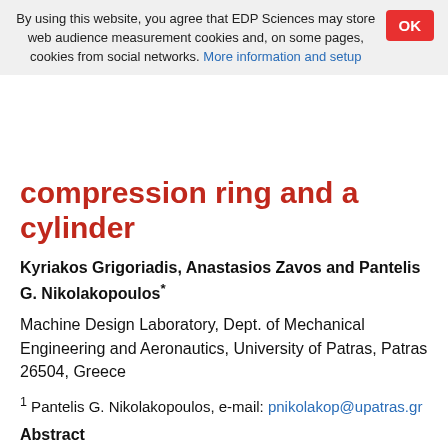By using this website, you agree that EDP Sciences may store web audience measurement cookies and, on some pages, cookies from social networks. More information and setup
compression ring and a cylinder
Kyriakos Grigoriadis, Anastasios Zavos and Pantelis G. Nikolakopoulos*
Machine Design Laboratory, Dept. of Mechanical Engineering and Aeronautics, University of Patras, Patras 26504, Greece
1 Pantelis G. Nikolakopoulos, e-mail: pnikolakop@upatras.gr
Abstract
This study focuses on the creation of an isothermal elastic model to highlight, through stresses, the occurrence of plastic deformation in certain crank angles under extreme dry conditions inside an internal combustion engine. The stresses